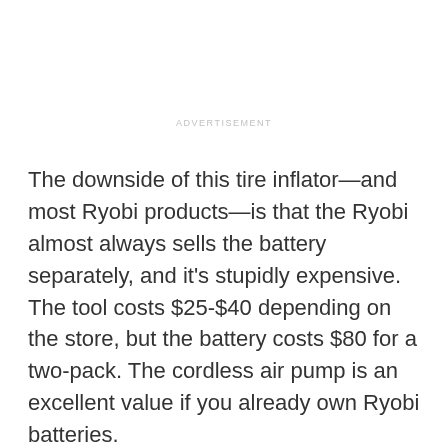ADVERTISEMENT
The downside of this tire inflator—and most Ryobi products—is that the Ryobi almost always sells the battery separately, and it's stupidly expensive. The tool costs $25-$40 depending on the store, but the battery costs $80 for a two-pack. The cordless air pump is an excellent value if you already own Ryobi batteries.